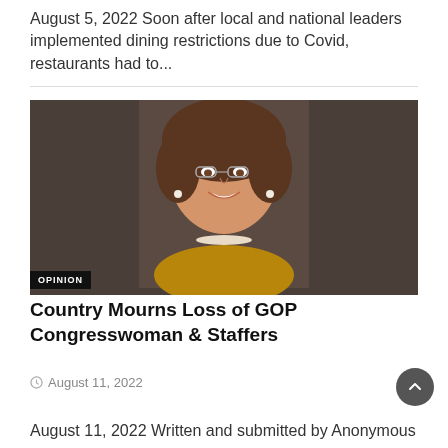August 5, 2022 Soon after local and national leaders implemented dining restrictions due to Covid, restaurants had to...
[Figure (photo): Portrait photo of a smiling woman with brown hair and glasses, wearing a gold blazer and pearl necklace, against a dark background.]
OPINION
Country Mourns Loss of GOP Congresswoman & Staffers
August 11, 2022
August 11, 2022 Written and submitted by Anonymous